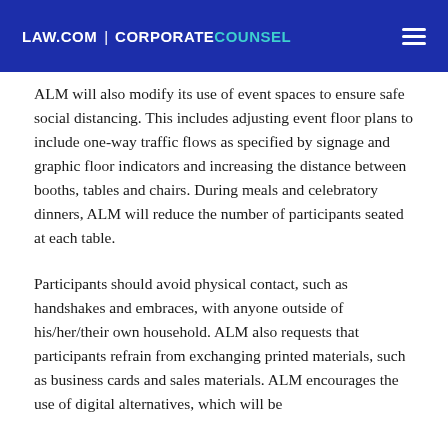LAW.COM | CORPORATECOUNSEL
ALM will also modify its use of event spaces to ensure safe social distancing. This includes adjusting event floor plans to include one-way traffic flows as specified by signage and graphic floor indicators and increasing the distance between booths, tables and chairs. During meals and celebratory dinners, ALM will reduce the number of participants seated at each table.
Participants should avoid physical contact, such as handshakes and embraces, with anyone outside of his/her/their own household. ALM also requests that participants refrain from exchanging printed materials, such as business cards and sales materials. ALM encourages the use of digital alternatives, which will be